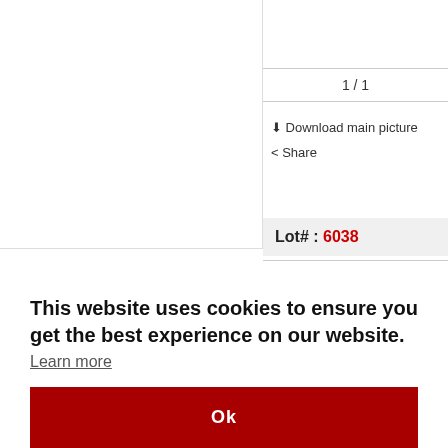[Figure (screenshot): Left panel: large white/empty image area (product photo placeholder)]
1 / 1
⬇ Download main picture
< Share
Lot# : 6038
This website uses cookies to ensure you get the best experience on our website.
Learn more
Ok
picture